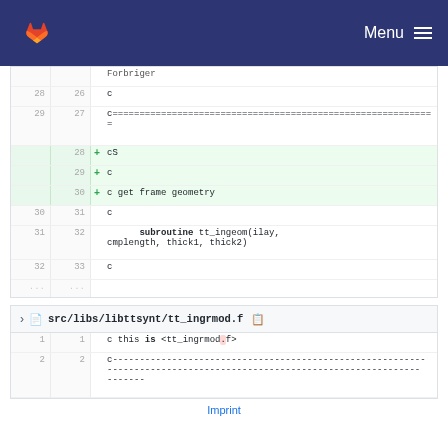GitLab — Menu
[Figure (screenshot): Diff view of Fortran source code showing lines 28-33 with added lines 28-30 (cS, c, c get frame geometry) highlighted in green, and lines showing subroutine tt_ingeom(ilay, cmplength, thick1, thick2)]
src/libs/libttsynt/tt_ingrmod.f
[Figure (screenshot): Diff view of tt_ingrmod.f showing lines 1-2 with code: c this is <tt_ingrmod.f> and c---- separator line]
Imprint